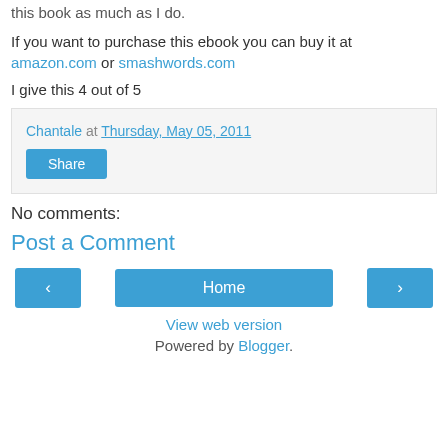this book as much as I do.
If you want to purchase this ebook you can buy it at amazon.com or smashwords.com
I give this 4 out of 5
Chantale at Thursday, May 05, 2011
Share
No comments:
Post a Comment
Home
View web version
Powered by Blogger.